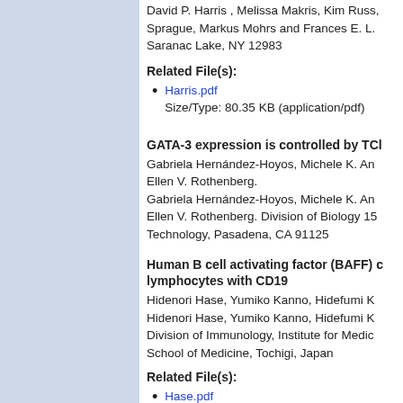David P. Harris , Melissa Makris, Kim Russ, Sprague, Markus Mohrs and Frances E. L. Saranac Lake, NY 12983
Related File(s):
Harris.pdf
Size/Type: 80.35 KB (application/pdf)
GATA-3 expression is controlled by TCl
Gabriela Hernández-Hoyos, Michele K. An Ellen V. Rothenberg.
Gabriela Hernández-Hoyos, Michele K. An Ellen V. Rothenberg. Division of Biology 15 Technology, Pasadena, CA 91125
Human B cell activating factor (BAFF) c lymphocytes with CD19
Hidenori Hase, Yumiko Kanno, Hidefumi K Hidenori Hase, Yumiko Kanno, Hidefumi K Division of Immunology, Institute for Medic School of Medicine, Tochigi, Japan
Related File(s):
Hase.pdf
Size/Type: 32.71 KB (application/pdf)